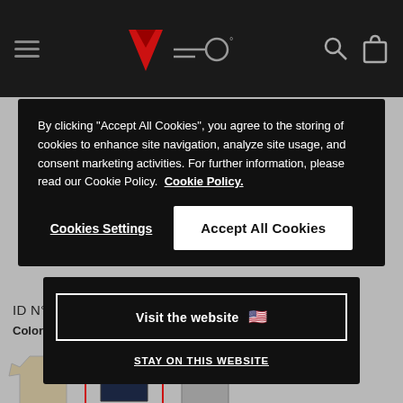[Figure (screenshot): Dainese website navigation bar with hamburger menu, Dainese logo (red inverted triangle), Cardo logo, search icon, and shopping bag icon on dark background]
By clicking “Accept All Cookies”, you agree to the storing of cookies to enhance site navigation, analyze site usage, and consent marketing activities. For further information, please read our Cookie Policy. Cookie Policy.
Cookies Settings
Accept All Cookies
Visit the website 🇺🇸
STAY ON THIS WEBSITE
ID N° 2038995
Color Options: Col
[Figure (photo): Three t-shirt color swatches: tan/khaki, dark navy (selected with red border), and grey]